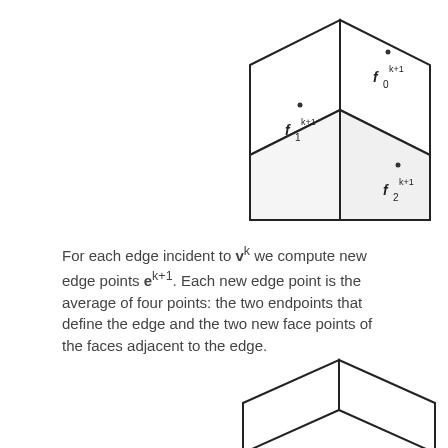[Figure (engineering-diagram): Isometric cube diagram with three face points labeled f0^(k+1) on top face, f1^(k+1) on left front face, and f2^(k+1) on right front face, each marked with a dot.]
For each edge incident to v^k we compute new edge points e^(k+1). Each new edge point is the average of four points: the two endpoints that define the edge and the two new face points of the faces adjacent to the edge.
[Figure (engineering-diagram): Partial isometric cube diagram showing the top face and beginning of front faces, cropped at the bottom of the page.]